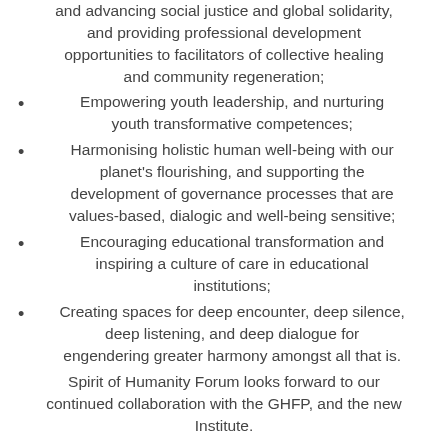and advancing social justice and global solidarity, and providing professional development opportunities to facilitators of collective healing and community regeneration;
Empowering youth leadership, and nurturing youth transformative competences;
Harmonising holistic human well-being with our planet's flourishing, and supporting the development of governance processes that are values-based, dialogic and well-being sensitive;
Encouraging educational transformation and inspiring a culture of care in educational institutions;
Creating spaces for deep encounter, deep silence, deep listening, and deep dialogue for engendering greater harmony amongst all that is.
Spirit of Humanity Forum looks forward to our continued collaboration with the GHFP, and the new Institute.